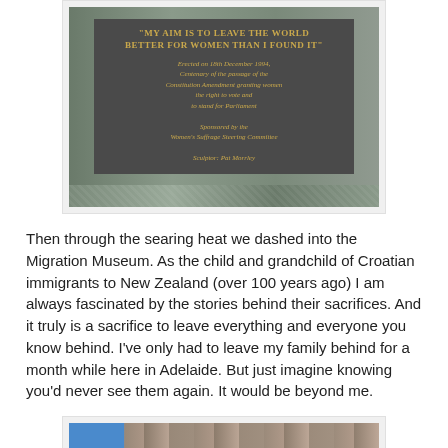[Figure (photo): A bronze or dark metal plaque with gold text reading: 'MY AIM IS TO LEAVE THE WORLD BETTER FOR WOMEN THAN I FOUND IT' — Erected on 18th December 1994, Centenary of the passage of the Constitution Amendment granting women the right to vote and to stand for Parliament. Sponsored by the Women's Suffrage Steering Committee. Sculptor: Pat Morrley. The plaque is mounted on a granite/stone base.]
Then through the searing heat we dashed into the Migration Museum. As the child and grandchild of Croatian immigrants to New Zealand (over 100 years ago) I am always fascinated by the stories behind their sacrifices. And it truly is a sacrifice to leave everything and everyone you know behind. I've only had to leave my family behind for a month while here in Adelaide. But just imagine knowing you'd never see them again. It would be beyond me.
[Figure (photo): Partial photo showing a blue section on the left and a stone wall texture on the right, partially cut off at the bottom of the page.]